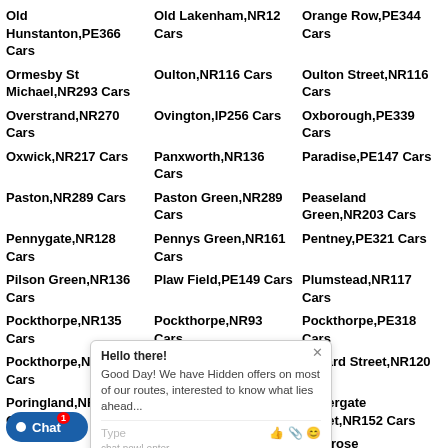Old Hunstanton,PE366 Cars
Old Lakenham,NR12 Cars
Orange Row,PE344 Cars
Ormesby St Michael,NR293 Cars
Oulton,NR116 Cars
Oulton Street,NR116 Cars
Overstrand,NR270 Cars
Ovington,IP256 Cars
Oxborough,PE339 Cars
Oxwick,NR217 Cars
Panxworth,NR136 Cars
Paradise,PE147 Cars
Paston,NR289 Cars
Paston Green,NR289 Cars
Peaseland Green,NR203 Cars
Pennygate,NR128 Cars
Pennys Green,NR161 Cars
Pentney,PE321 Cars
Pilson Green,NR136 Cars
Plaw Field,PE149 Cars
Plumstead,NR117 Cars
Pockthorpe,NR135 Cars
Pockthorpe,NR93 Cars
Pockthorpe,PE318 Cars
Pockthorpe,NR205 Cars
Podmore,NR192 Cars
Pollard Street,NR120 Cars
Poringland,NR147 Cars
Postwick,NR135 Cars
Pottergate Street,NR152 Cars
Pott Row,PE321 Cars
Primrose Corner,NR136 Cars